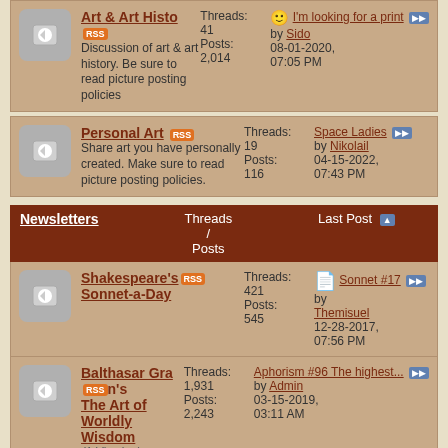Art & Art History | Threads: 41 | Posts: 2,014 | I'm looking for a print by Sido 08-01-2020, 07:05 PM
Personal Art | Threads: 19 | Posts: 116 | Space Ladies by Nikolail 04-15-2022, 07:43 PM
Newsletters | Threads / Posts | Last Post
Shakespeare's Sonnet-a-Day | Threads: 421 | Posts: 545 | Sonnet #17 by Themisuel 12-28-2017, 07:56 PM
Balthasar Gracian's The Art of Worldly Wisdom (1 Viewing) | Threads: 1,931 | Posts: 2,243 | Aphorism #96 The highest... by Admin 03-15-2019, 03:11 AM